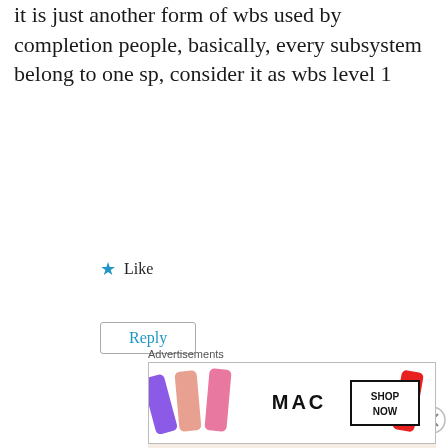it is just another form of wbs used by completion people, basically, every subsystem belong to one sp, consider it as wbs level 1
★ Like
Reply
Advertisements
[Figure (other): Advertisement banner: 'Need a website quickly – and on a budget? Let us build it for you' on a beige background]
Advertisements
[Figure (other): MAC Cosmetics advertisement showing lipsticks with 'SHOP NOW' button]